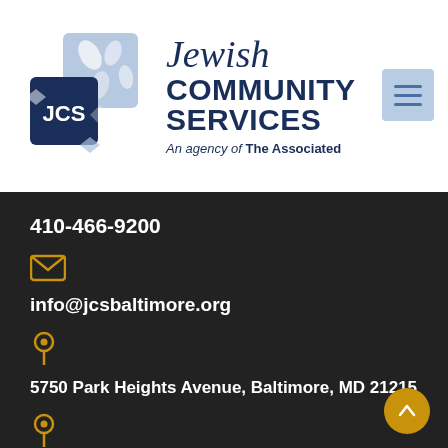[Figure (logo): Jewish Community Services (JCS) logo with blue square tiles and leaf motifs]
Jewish COMMUNITY SERVICES
An agency of The Associated
[Figure (other): Hamburger menu icon button]
410-466-9200
[Figure (other): Envelope/email icon in gold/amber color]
info@jcsbaltimore.org
[Figure (other): Map pin/location icon in gold/amber color]
5750 Park Heights Avenue, Baltimore, MD 21215
[Figure (other): Map pin/location icon in gold/amber color]
3506 Gwynnbrook Avenue, Owings Mills, MD 21117